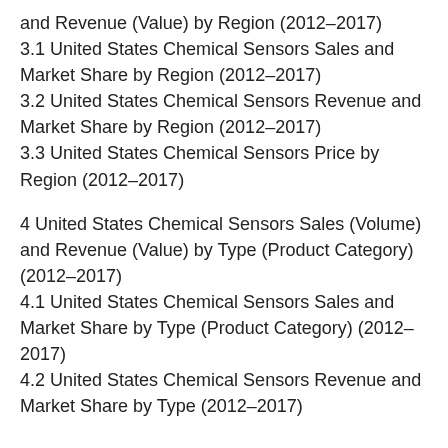and Revenue (Value) by Region (2012–2017)
3.1 United States Chemical Sensors Sales and Market Share by Region (2012–2017)
3.2 United States Chemical Sensors Revenue and Market Share by Region (2012–2017)
3.3 United States Chemical Sensors Price by Region (2012–2017)
4 United States Chemical Sensors Sales (Volume) and Revenue (Value) by Type (Product Category) (2012–2017)
4.1 United States Chemical Sensors Sales and Market Share by Type (Product Category) (2012–2017)
4.2 United States Chemical Sensors Revenue and Market Share by Type (2012–2017)